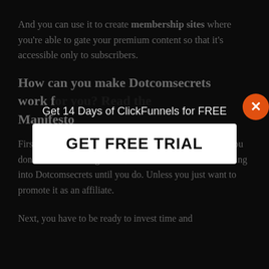And you can use it to create membership sites where you're able to gate your premium content so that it's accessible only to subscribers.
How can you make Dotcomsecrets work for you? Read the Manifesto
First of all, you need a product or service to market. If you don't have something to sell, then don't even bother looking into Dotcomsecrets until you do. Unless you just want to promote it as an affiliate.
Next, you have to be ready to invest time and
[Figure (screenshot): Popup overlay with text 'Get 14 Days of ClickFunnels for FREE' and a white button labeled 'GET FREE TRIAL', with an orange X close button in the top-right corner.]